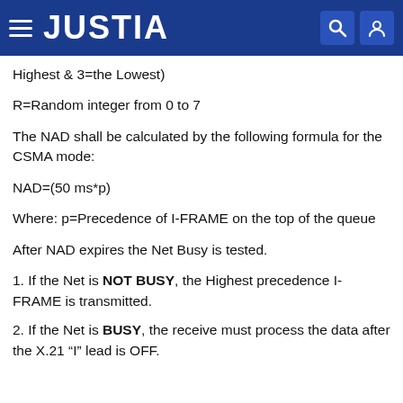JUSTIA
Highest & 3=the Lowest)
R=Random integer from 0 to 7
The NAD shall be calculated by the following formula for the CSMA mode:
Where: p=Precedence of I-FRAME on the top of the queue
After NAD expires the Net Busy is tested.
1. If the Net is NOT BUSY, the Highest precedence I-FRAME is transmitted.
2. If the Net is BUSY, the receive must process the data after the X.21 “I” lead is OFF.